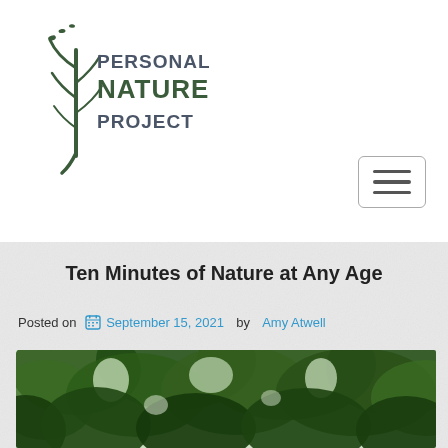[Figure (logo): Personal Nature Project logo — a stylized plant/tree silhouette on the left with the text PERSONAL NATURE PROJECT in dark slate/green]
[Figure (other): Hamburger menu button (three horizontal lines) in a rounded rectangle]
Ten Minutes of Nature at Any Age
Posted on  September 15, 2021  by  Amy Atwell
[Figure (photo): Photograph looking up through green leafy tree canopy, bright sky visible through leaves]